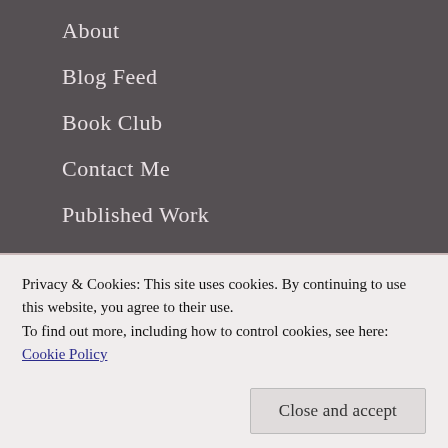About
Blog Feed
Book Club
Contact Me
Published Work
The English Cradle
Work With Me
Monthly Writing Resources!
Privacy & Cookies: This site uses cookies. By continuing to use this website, you agree to their use.
To find out more, including how to control cookies, see here: Cookie Policy
Close and accept